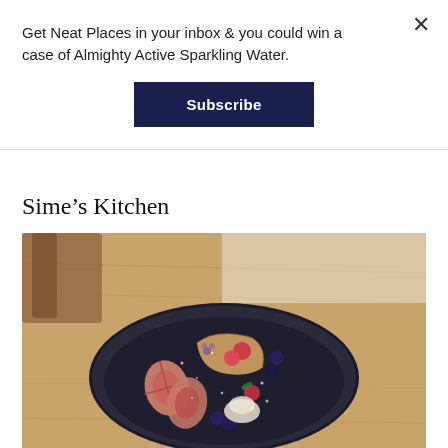Get Neat Places in your inbox & you could win a case of Almighty Active Sparkling Water.
Subscribe
Sime's Kitchen
[Figure (photo): A dark ceramic bowl on a wooden table, filled with a dessert featuring sliced figs, raspberries, blueberries, pastry pieces, whipped cream, and powdered sugar dusting, with edible flowers.]